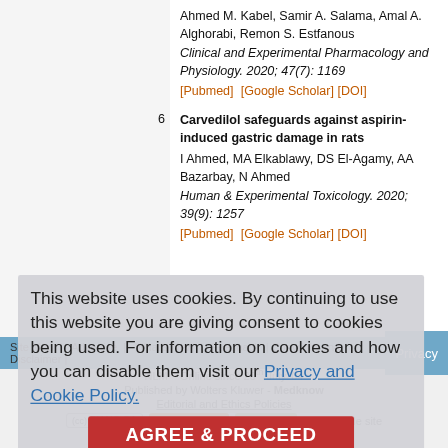Ahmed M. Kabel, Samir A. Salama, Amal A. Alghorabi, Remon S. Estfanous
Clinical and Experimental Pharmacology and Physiology. 2020; 47(7): 1169
[Pubmed] [Google Scholar] [DOI]
6  Carvedilol safeguards against aspirin-induced gastric damage in rats
I Ahmed, MA Elkablawy, DS El-Agamy, AA Bazarbay, N Ahmed
Human & Experimental Toxicology. 2020; 39(9): 1257
[Pubmed] [Google Scholar] [DOI]
This website uses cookies. By continuing to use this website you are giving consent to cookies being used. For information on cookies and how you can disable them visit our Privacy and Cookie Policy.
Site Map | Advertise | What's New | Feedback | Disclaimer | Copyright and Disclaimer | Privacy
NLM
Online since 20th July '04
Published by Wolters Kluwer - Medknow
Editorial and Ethics Policies
[cc] BY-NC-SA   Open Access   $ No Fee   View mobile site
ISSN: Print -0253-7613, Online - 1998-3751